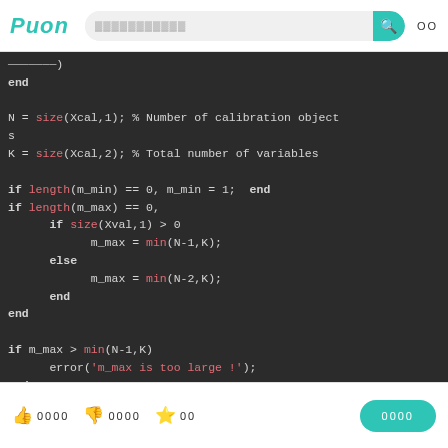PUON [search bar] [search button] OO
[Figure (screenshot): Code editor screenshot showing MATLAB/Octave code with dark background. Code includes: end, N = size(Xcal,1); % Number of calibration objects, K = size(Xcal,2); % Total number of variables, if length(m_min) == 0, m_min = 1; end, if length(m_max) == 0, if size(Xval,1) > 0, m_max = min(N-1,K);, else, m_max = min(N-2,K);, end, end, if m_max > min(N-1,K), error('m_max is too large !');, end, % Phase 1: Projection operations for the selecti...]
0000 0000 00 0000